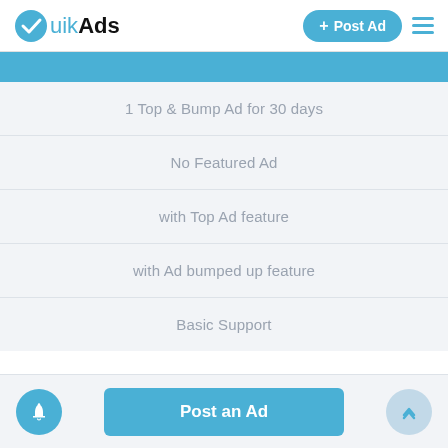[Figure (logo): QuikAds logo with checkmark icon, Post Ad button, and hamburger menu in the header]
1 Top & Bump Ad for 30 days
No Featured Ad
with Top Ad feature
with Ad bumped up feature
Basic Support
Post an Ad